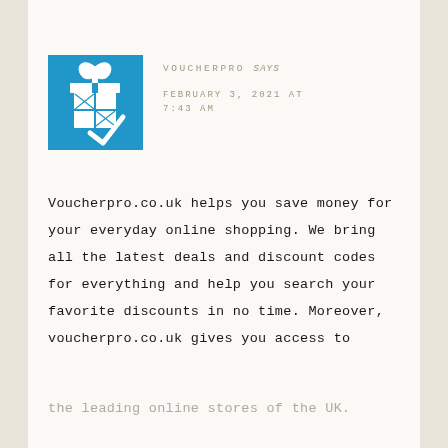[Figure (logo): Blue square logo with white gift box and checkmark icon for VoucherPro]
VOUCHERPRO says FEBRUARY 3, 2021 AT 7:43 AM
Voucherpro.co.uk helps you save money for your everyday online shopping. We bring all the latest deals and discount codes for everything and help you search your favorite discounts in no time. Moreover, voucherpro.co.uk gives you access to the leading online stores of the UK. You can enjoy shopping easily within
the leading online stores of the UK.